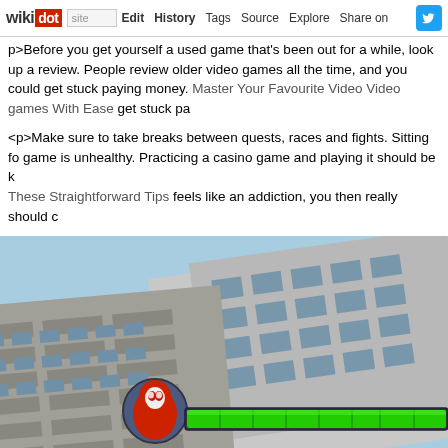wikidot | site | Edit | History | Tags | Source | Explore | Share on Twitter
p>Before you get yourself a used game that's been out for a while, look up a review. People review older video games all the time, and you could get stuck paying money. Master Your Favourite Video Video games With Ease get stuck pa
<p>Make sure to take breaks between quests, races and fights. Sitting for a long time and playing a game is unhealthy. Practicing a casino game and playing it should be kept fun. These Straightforward Tips feels like an addiction, you then really should consider
<p>Play video games and enter shape. Many new video games are played by use of actual body movement. If you are thinking about engaging in better shape, research the brand new video games for your gaming system. Then, pop in a game and get moving and become healthier.</p>
[Figure (screenshot): Video game screenshot showing a city building environment with a character (red figure) and a green health/progress bar at the bottom of the screen]